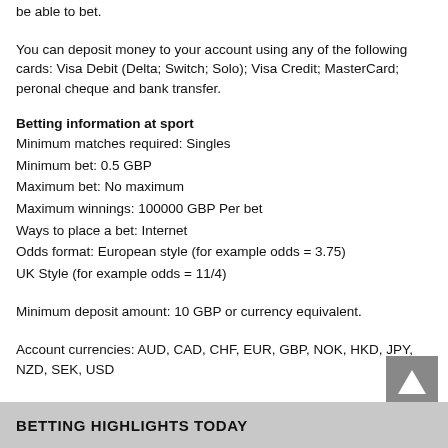be able to bet.
You can deposit money to your account using any of the following cards: Visa Debit (Delta; Switch; Solo); Visa Credit; MasterCard; peronal cheque and bank transfer.
Betting information at sport
Minimum matches required: Singles
Minimum bet: 0.5 GBP
Maximum bet: No maximum
Maximum winnings: 100000 GBP Per bet
Ways to place a bet: Internet
Odds format: European style (for example odds = 3.75)
UK Style (for example odds = 11/4)
Minimum deposit amount: 10 GBP or currency equivalent.
Account currencies: AUD, CAD, CHF, EUR, GBP, NOK, HKD, JPY, NZD, SEK, USD
Tax: None
BETTING HIGHLIGHTS TODAY